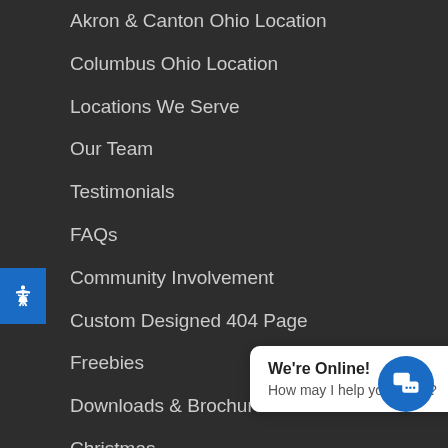Akron & Canton Ohio Location
Columbus Ohio Location
Locations We Serve
Our Team
Testimonials
FAQs
Community Involvement
Custom Designed 404 Page
Freebies
Downloads & Brochures
Christmas
Careplans.com
Robintek Health
Privacy Policies & Procedures
Contact Us
Request a Cons…
We're Online! How may I help you today?